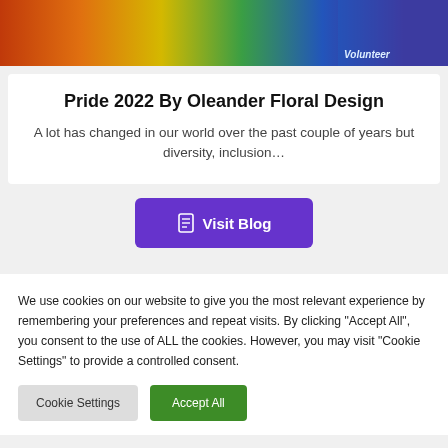[Figure (photo): Colorful group photo of people in rainbow-colored shirts with a volunteer visible on the right side]
Pride 2022 By Oleander Floral Design
A lot has changed in our world over the past couple of years but diversity, inclusion…
Visit Blog
We use cookies on our website to give you the most relevant experience by remembering your preferences and repeat visits. By clicking "Accept All", you consent to the use of ALL the cookies. However, you may visit "Cookie Settings" to provide a controlled consent.
Cookie Settings
Accept All